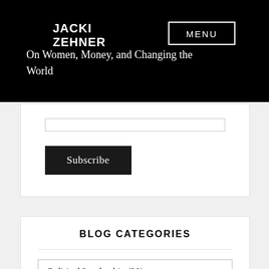JACKI ZEHNER
MENU
On Women, Money, and Changing the World
Subscribe
BLOG CATEGORIES
Political Leadership  (39)